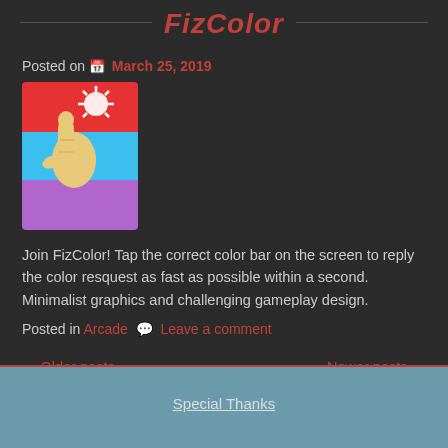FizColor
Posted on  March 25, 2019
[Figure (illustration): App icon showing a pointing hand tapping a red color bar, with blue and purple color bars below]
Join FizColor! Tap the correct color bar on the screen to reply the color resquest as fast as possible within a second. Minimalist graphics and challenging gameplay design.
Posted in Arcade  Leave a comment
← Older posts    Newer posts →
Special Thanks